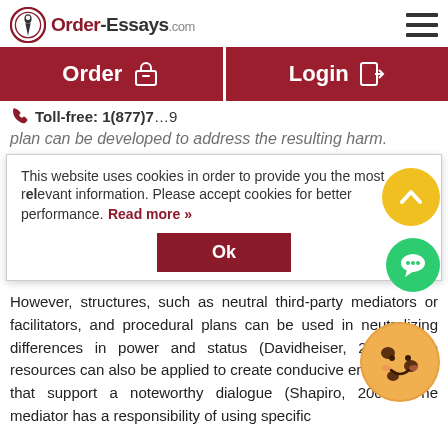[Figure (logo): Order-Essays.com logo with pen icon]
[Figure (screenshot): Navigation buttons: Order and Login in dark red]
Toll-free: 1(877)7...9
plan can be developed to address the resulting harm.
This website uses cookies in order to provide you the most relevant information. Please accept cookies for better performance.
Read more »
Ok
However, structures, such as neutral third-party mediators or facilitators, and procedural plans can be used in neutralizing differences in power and status (Davidheiser, 2006). The resources can also be applied to create conducive environments that support a noteworthy dialogue (Shapiro, 2002). The mediator has a responsibility of using specific